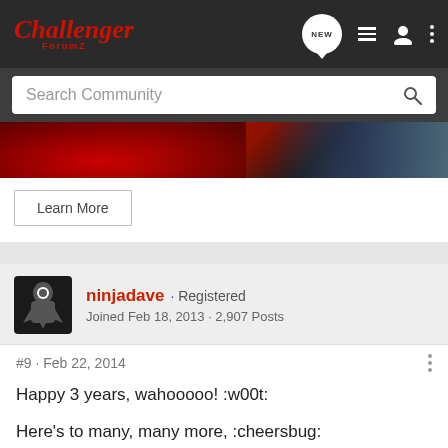Challenger ForumZ — navigation bar with NEW, list, user, and menu icons
Search Community
[Figure (photo): Partial banner image showing red car interior/exterior and dark background]
Learn More
ninjadave · Registered
Joined Feb 18, 2013 · 2,907 Posts
#9 · Feb 22, 2014
Happy 3 years, wahooooo! :w00t:
Here's to many, many more, :cheersbug:
[Figure (screenshot): Optima Batteries advertisement banner]
Good to                   Reps to